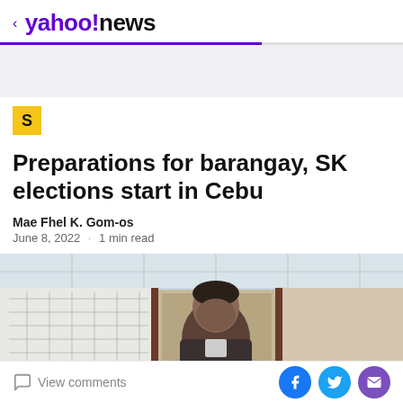< yahoo!news
[Figure (logo): Yahoo News logo with purple back arrow and brand name]
[Figure (photo): Advertisement banner placeholder in light gray]
[Figure (logo): Source icon: yellow square with bold black letter S]
Preparations for barangay, SK elections start in Cebu
Mae Fhel K. Gom-os
June 8, 2022 · 1 min read
[Figure (photo): Photo of a man with dark hair standing in an office with charts/maps on the wall behind him]
View comments
[Figure (infographic): Social share buttons: Facebook (blue circle), Twitter (light blue circle), Email (purple circle)]